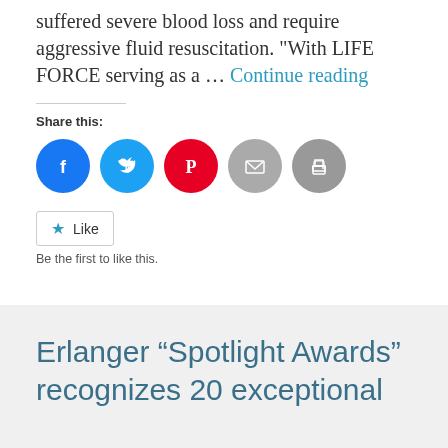suffered severe blood loss and require aggressive fluid resuscitation. "With LIFE FORCE serving as a … Continue reading
Share this:
[Figure (other): Social sharing icons: Facebook (blue circle), Twitter (blue circle), Pinterest (red circle), Email (grey circle), Print (grey circle)]
Like
Be the first to like this.
Erlanger “Spotlight Awards” recognizes 20 exceptional